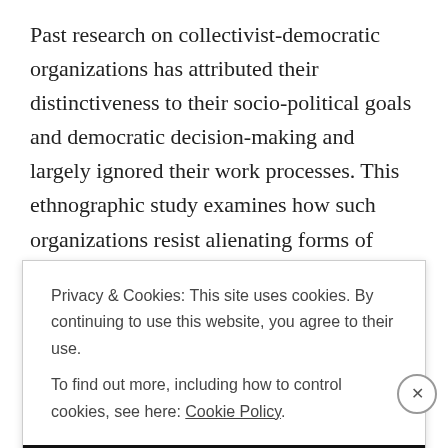Past research on collectivist-democratic organizations has attributed their distinctiveness to their socio-political goals and democratic decision-making and largely ignored their work processes. This ethnographic study examines how such organizations resist alienating forms of work even in the face of direct competition with for-profit companies. It focuses on Scopix, a French cooperative sheet-metal
Privacy & Cookies: This site uses cookies. By continuing to use this website, you agree to their use.
To find out more, including how to control cookies, see here: Cookie Policy.
Close and accept